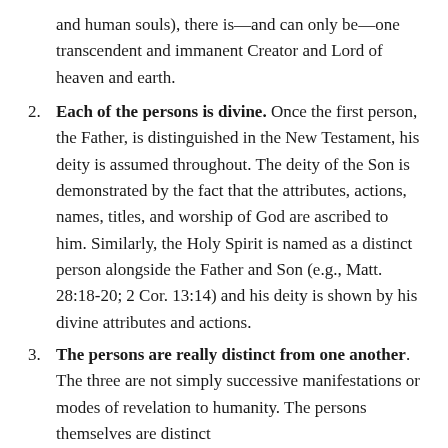and human souls), there is—and can only be—one transcendent and immanent Creator and Lord of heaven and earth.
Each of the persons is divine. Once the first person, the Father, is distinguished in the New Testament, his deity is assumed throughout. The deity of the Son is demonstrated by the fact that the attributes, actions, names, titles, and worship of God are ascribed to him. Similarly, the Holy Spirit is named as a distinct person alongside the Father and Son (e.g., Matt. 28:18-20; 2 Cor. 13:14) and his deity is shown by his divine attributes and actions.
The persons are really distinct from one another. The three are not simply successive manifestations or modes of revelation to humanity. The persons themselves are distinct…